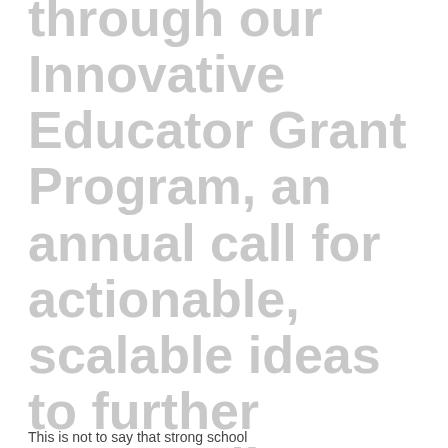through our Innovative Educator Grant Program, an annual call for actionable, scalable ideas to further personalize learning at the classroom and school levels.
This is not to say that strong school